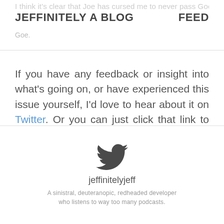JEFFINITELY A BLOG    FEED
If you have any feedback or insight into what's going on, or have experienced this issue yourself, I'd love to hear about it on Twitter. Or you can just click that link to see how the latest tweet is from February 21 or 23 depending what browser you're using.
[Figure (illustration): Twitter bird logo icon in dark gray]
jeffinitelyjeff
A sinistral, deuteranopic, redheaded developer who listens to way too many podcasts.